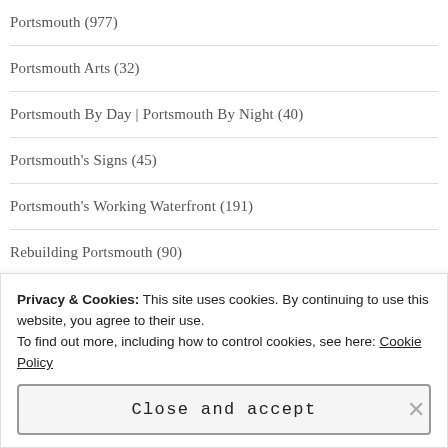Portsmouth (977)
Portsmouth Arts (32)
Portsmouth By Day | Portsmouth By Night (40)
Portsmouth's Signs (45)
Portsmouth's Working Waterfront (191)
Rebuilding Portsmouth (90)
Restaurants (87)
Privacy & Cookies: This site uses cookies. By continuing to use this website, you agree to their use.
To find out more, including how to control cookies, see here: Cookie Policy
Close and accept